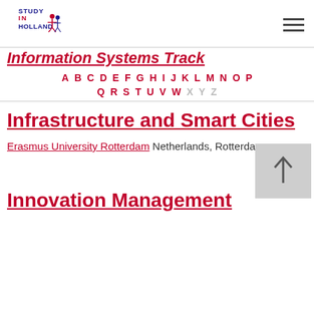[Figure (logo): Study in Holland logo with red text and figures]
Information Systems Track
A B C D E F G H I J K L M N O P Q R S T U V W X Y Z
Infrastructure and Smart Cities
Erasmus University Rotterdam Netherlands, Rotterdam
Innovation Management